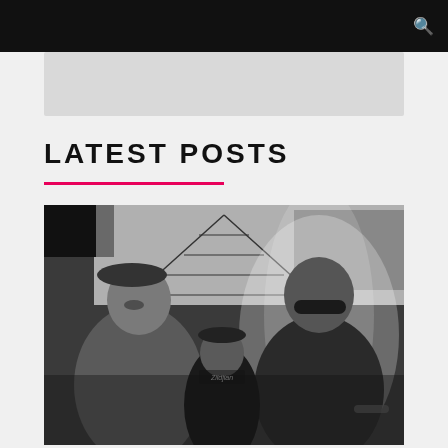LATEST POSTS
[Figure (photo): Black and white photograph of three musicians: two guitarists in the foreground (one wearing a beret on the left, one wearing sunglasses on the right wearing a dark floral shirt) and a drummer in the background wearing a Zildjian t-shirt and cap. Behind them is a stylized drawing/mural of a railroad track perspective with buildings on either side. The right guitarist and the mural have a white outline/glow effect.]